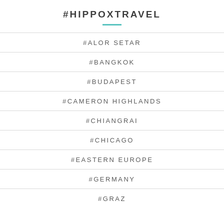#HIPPOXTRAVEL
#ALOR SETAR
#BANGKOK
#BUDAPEST
#CAMERON HIGHLANDS
#CHIANGRAI
#CHICAGO
#EASTERN EUROPE
#GERMANY
#GRAZ